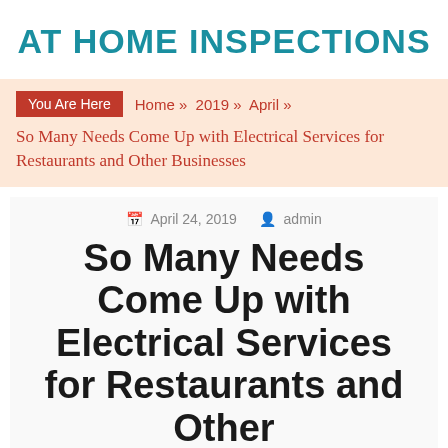AT HOME INSPECTIONS
You Are Here  Home » 2019 » April » So Many Needs Come Up with Electrical Services for Restaurants and Other Businesses
April 24, 2019  admin
So Many Needs Come Up with Electrical Services for Restaurants and Other